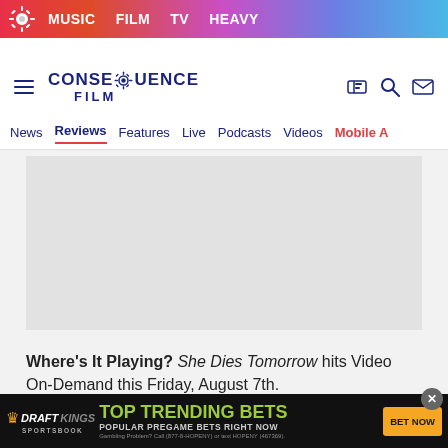MUSIC  FILM  TV  HEAVY
[Figure (logo): Consequence Film logo with gear icon, navigation icons for tickets, search, mail]
News  Reviews  Features  Live  Podcasts  Videos  Mobile A
[Figure (other): Gray advertisement placeholder block]
Where's It Playing? She Dies Tomorrow hits Video On-Demand this Friday, August 7th.
Trailer:
[Figure (other): DraftKings Sportsbook advertisement banner: TOP TRENDING BETS - POPULAR PREGAME BETS RIGHT NOW. Gambling Problem? Call (877-8-HOPENY) or text HOPENY (467369). BET NOW button.]